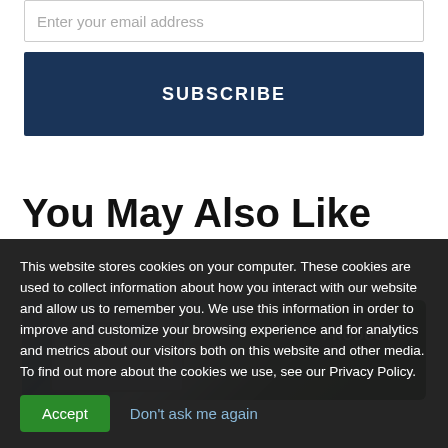Enter your email address
SUBSCRIBE
You May Also Like
[Figure (photo): Laptop computer on a desk with a green plant in the background, showing a web interface on screen. A 'PRODUCT' badge/tag is visible in the upper right of the image.]
This website stores cookies on your computer. These cookies are used to collect information about how you interact with our website and allow us to remember you. We use this information in order to improve and customize your browsing experience and for analytics and metrics about our visitors both on this website and other media. To find out more about the cookies we use, see our Privacy Policy.
Accept
Don't ask me again